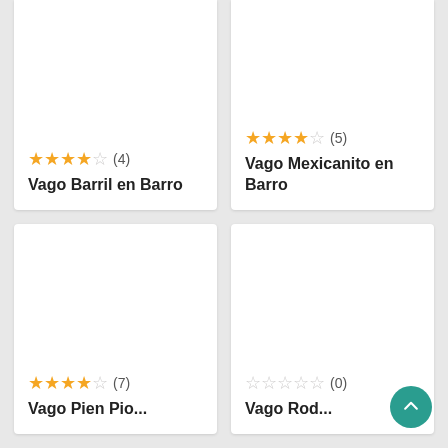★★★★☆ (4)
Vago Barril en Barro
★★★★☆ (5)
Vago Mexicanito en Barro
★★★★☆ (7)
[product name partially visible]
☆☆☆☆☆ (0)
[product name partially visible]